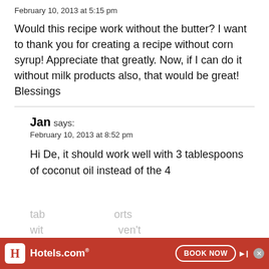February 10, 2013 at 5:15 pm
Would this recipe work without the butter? I want to thank you for creating a recipe without corn syrup! Appreciate that greatly. Now, if I can do it without milk products also, that would be great! Blessings
Jan says:
February 10, 2013 at 8:52 pm
Hi De, it should work well with 3 tablespoons of coconut oil instead of the 4 tablespoons of butter. I've not tried it with...